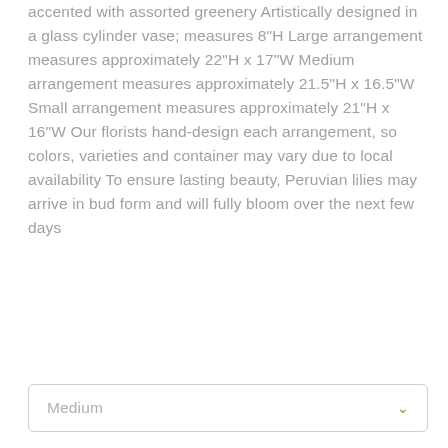accented with assorted greenery Artistically designed in a glass cylinder vase; measures 8"H Large arrangement measures approximately 22"H x 17"W Medium arrangement measures approximately 21.5"H x 16.5"W Small arrangement measures approximately 21"H x 16"W Our florists hand-design each arrangement, so colors, varieties and container may vary due to local availability To ensure lasting beauty, Peruvian lilies may arrive in bud form and will fully bloom over the next few days
Medium